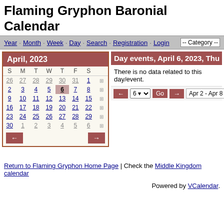Flaming Gryphon Baronial Calendar
Year · Month · Week · Day · Search · Registration · Login   -- Category --
[Figure (other): April 2023 monthly calendar widget with navigation arrows, showing days 26-6 across 6 rows, with day 6 highlighted, and week-view icons on right side]
Day events, April 6, 2023, Thu
There is no data related to this day/event.
← 6 Go → Apr 2 - Apr 8
Return to Flaming Gryphon Home Page | Check the Middle Kingdom calendar
Powered by VCalendar.